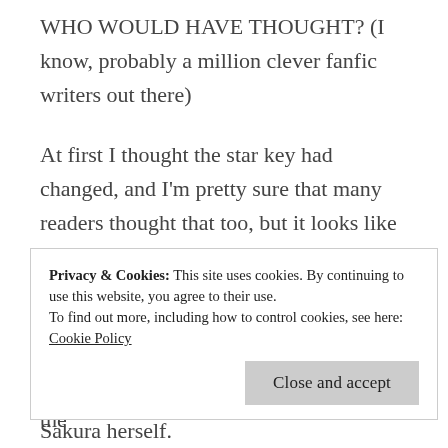WHO WOULD HAVE THOUGHT? (I know, probably a million clever fanfic writers out there)
At first I thought the star key had changed, and I'm pretty sure that many readers thought that too, but it looks like it's a brand new key. That would make sense since at some point Sakura will give away her star wand to TRC!Sakura.
The 6-point star looks like the one from the
Privacy & Cookies: This site uses cookies. By continuing to use this website, you agree to their use. To find out more, including how to control cookies, see here: Cookie Policy
Sakura herself.